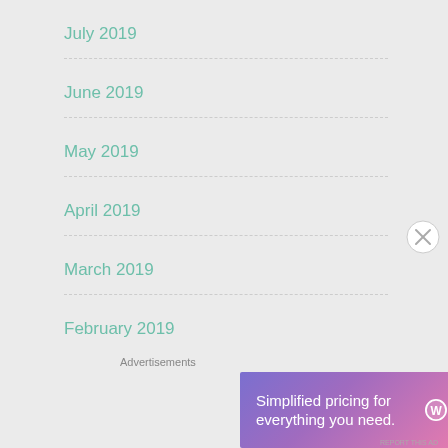July 2019
June 2019
May 2019
April 2019
March 2019
February 2019
January 2019
December 2018
Advertisements
[Figure (infographic): WordPress.com advertisement banner: 'Simplified pricing for everything you need.' with WordPress.com logo on gradient background (purple to pink)]